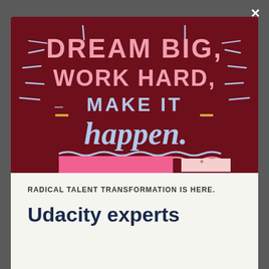[Figure (photo): Motivational poster with dark red/maroon background showing hand-lettered text: 'DREAM BIG, WORK HARD, MAKE IT happen.' with decorative rays and wavy underlines. Pink and light blocks visible at bottom.]
RADICAL TALENT TRANSFORMATION IS HERE.
Udacity experts